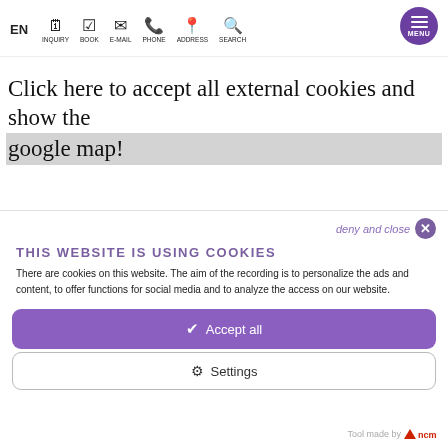EN  INQUIRY  BOOK  E-MAIL  PHONE  ADDRESS  SEARCH  MENU
Click here to accept all external cookies and show the google map!
deny and close
THIS WEBSITE IS USING COOKIES
There are cookies on this website. The aim of the recording is to personalize the ads and content, to offer functions for social media and to analyze the access on our website.
✓  Accept all
⚙  Settings
Tool made by ncm.at